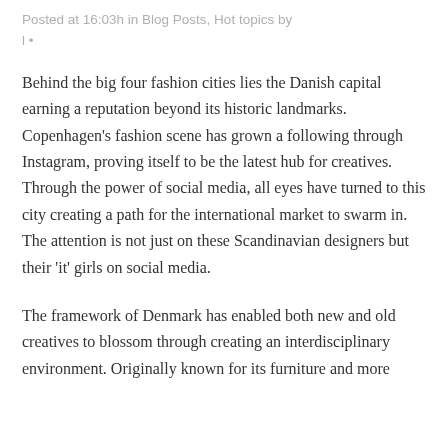Posted at 16:03h in Blog Posts, Hot topics by
l •
Behind the big four fashion cities lies the Danish capital earning a reputation beyond its historic landmarks. Copenhagen's fashion scene has grown a following through Instagram, proving itself to be the latest hub for creatives. Through the power of social media, all eyes have turned to this city creating a path for the international market to swarm in. The attention is not just on these Scandinavian designers but their 'it' girls on social media.
The framework of Denmark has enabled both new and old creatives to blossom through creating an interdisciplinary environment. Originally known for its furniture and more